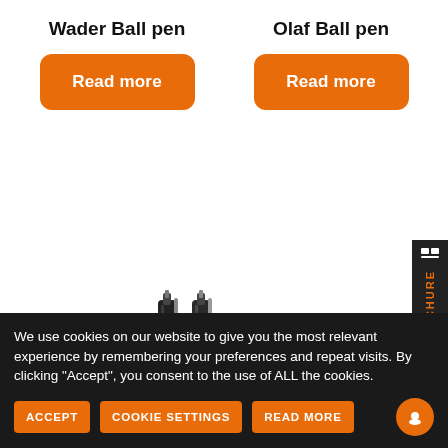Wader Ball pen
Read more
Olaf Ball pen
Read more
[Figure (photo): Two black and silver ball pens standing upright side by side]
[Figure (other): Sidebar with brochure icon and orange vertical text reading REQUEST BROCHURE on dark background]
We use cookies on our website to give you the most relevant experience by remembering your preferences and repeat visits. By clicking “Accept”, you consent to the use of ALL the cookies.
ACCEPT
COOKIE SETTINGS
READ MORE